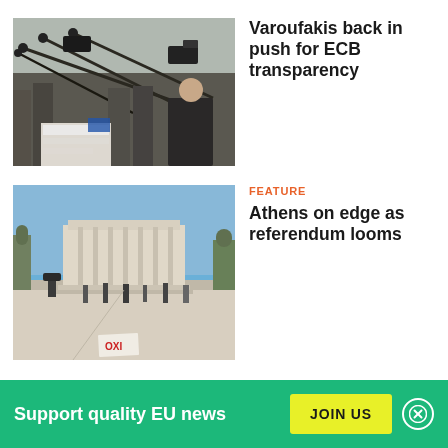[Figure (photo): Press conference scene with TV cameras and journalists surrounding a man in a dark suit, outdoors.]
Varoufakis back in push for ECB transparency
[Figure (photo): Athens city square with parliament building in background, people on open plaza, blue sky, a leaflet on the ground reading 'OXI'.]
FEATURE
Athens on edge as referendum looms
[Figure (photo): Wide panoramic blue sky scene, appears to be landscape or skyline.]
Support quality EU news
JOIN US